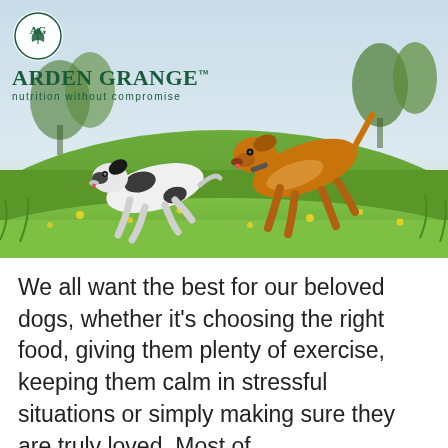[Figure (photo): Two dogs running through a green grassy field with yellow wildflowers. A black and white spotted dog on the left and a golden/brown dog on the right, both in mid-run with mouths open and tongues out. Trees and sky in the background. Arden Grange logo overlay in the top-left corner.]
We all want the best for our beloved dogs, whether it's choosing the right food, giving them plenty of exercise, keeping them calm in stressful situations or simply making sure they are truly loved. Most of